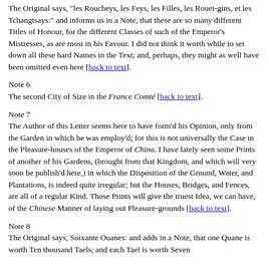The Original says, "les Roucheys, les Feys, les Filles, les Rouei-gins, et les Tchangtsays:" and informs us in a Note, that these are so many different Titles of Honour, for the different Classes of such of the Emperor's Mistresses, as are most in his Favour. I did not think it worth while to set down all these hard Names in the Text; and, perhaps, they might as well have been omitted even here [back to text].
Note 6
The second City of Size in the France Comté [back to text].
Note 7
The Author of this Letter seems here to have form'd his Opinion, only from the Garden in which he was employ'd; for this is not universally the Case in the Pleasure-houses of the Emperor of China. I have lately seen some Prints of another of his Gardens, (brought from that Kingdom, and which will very soon be publish'd here,) in which the Disposition of the Ground, Water, and Plantations, is indeed quite irregular; but the Houses, Bridges, and Fences, are all of a regular Kind. Those Prints will give the truest Idea, we can have, of the Chinese Manner of laying out Pleasure-grounds [back to text].
Note 8
The Original says, Soixante Ouanes: and adds in a Note, that one Quane is worth Ten thousand Taels; and each Tael is worth Seven